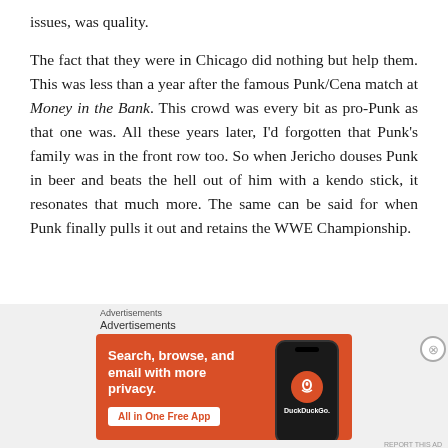issues, was quality.

The fact that they were in Chicago did nothing but help them. This was less than a year after the famous Punk/Cena match at Money in the Bank. This crowd was every bit as pro-Punk as that one was. All these years later, I'd forgotten that Punk's family was in the front row too. So when Jericho douses Punk in beer and beats the hell out of him with a kendo stick, it resonates that much more. The same can be said for when Punk finally pulls it out and retains the WWE Championship.
[Figure (other): DuckDuckGo advertisement banner. Orange background with text 'Search, browse, and email with more privacy. All in One Free App' and a smartphone graphic with DuckDuckGo logo.]